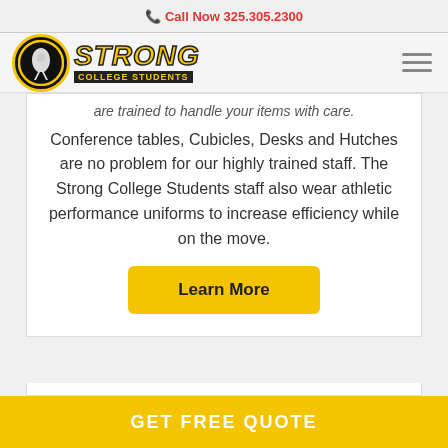📞 Call Now 325.305.2300
[Figure (logo): Strong College Students logo: black circle with figure, yellow bold italic STRONG text, COLLEGE STUDENTS subtitle, hamburger menu icon]
are trained to handle your items with care.
Conference tables, Cubicles, Desks and Hutches are no problem for our highly trained staff. The Strong College Students staff also wear athletic performance uniforms to increase efficiency while on the move.
Learn More
GET FREE QUOTE